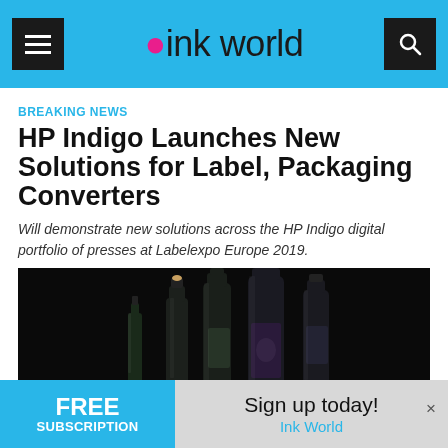ink world
BREAKING NEWS
HP Indigo Launches New Solutions for Label, Packaging Converters
Will demonstrate new solutions across the HP Indigo digital portfolio of presses at Labelexpo Europe 2019.
[Figure (photo): Dark background photograph showing several glass bottles of various sizes with labels, suggesting premium beverages or spirits.]
FREE SUBSCRIPTION — Sign up today! Ink World